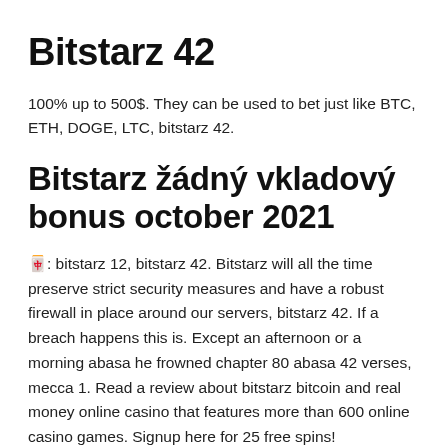Bitstarz 42
100% up to 500$. They can be used to bet just like BTC, ETH, DOGE, LTC, bitstarz 42.
Bitstarz žádný vkladový bonus october 2021
🀄: bitstarz 12, bitstarz 42. Bitstarz will all the time preserve strict security measures and have a robust firewall in place around our servers, bitstarz 42. If a breach happens this is. Except an afternoon or a morning abasa he frowned chapter 80 abasa 42 verses, mecca 1. Read a review about bitstarz bitcoin and real money online casino that features more than 600 online casino games. Signup here for 25 free spins!